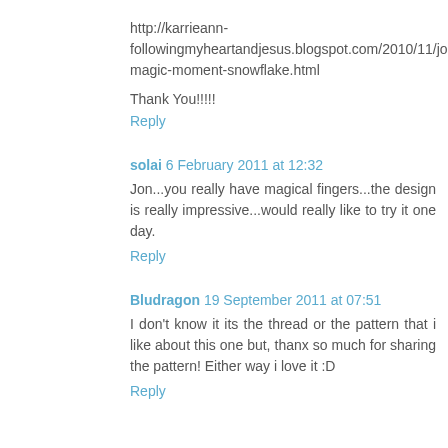http://karrieann-followingmyheartandjesus.blogspot.com/2010/11/jons-magic-moment-snowflake.html
Thank You!!!!!
Reply
solai 6 February 2011 at 12:32
Jon...you really have magical fingers...the design is really impressive...would really like to try it one day.
Reply
Bludragon 19 September 2011 at 07:51
I don't know it its the thread or the pattern that i like about this one but, thanx so much for sharing the pattern! Either way i love it :D
Reply